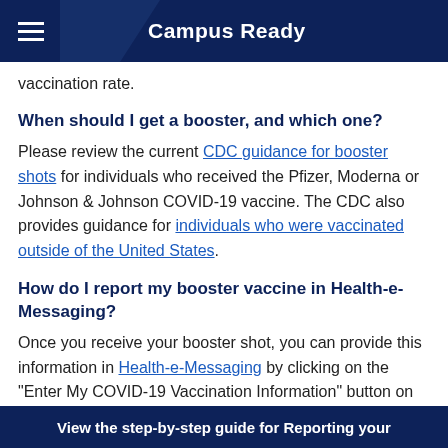Campus Ready
vaccination rate.
When should I get a booster, and which one?
Please review the current CDC guidance for booster shots for individuals who received the Pfizer, Moderna or Johnson & Johnson COVID-19 vaccine. The CDC also provides guidance for individuals who were vaccinated outside of the United States.
How do I report my booster vaccine in Health-e-Messaging?
Once you receive your booster shot, you can provide this information in Health-e-Messaging by clicking on the "Enter My COVID-19 Vaccination Information" button on the home screen.
View the step-by-step guide for Reporting your